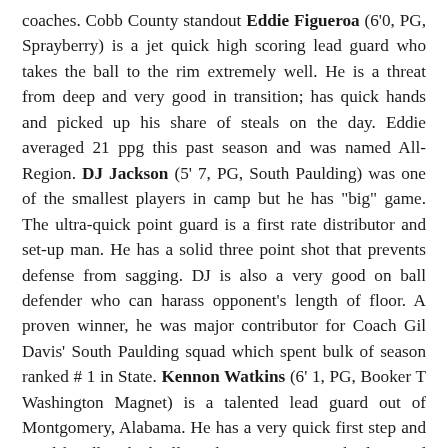coaches. Cobb County standout Eddie Figueroa (6'0, PG, Sprayberry) is a jet quick high scoring lead guard who takes the ball to the rim extremely well. He is a threat from deep and very good in transition; has quick hands and picked up his share of steals on the day. Eddie averaged 21 ppg this past season and was named All-Region. DJ Jackson (5' 7, PG, South Paulding) was one of the smallest players in camp but he has "big" game. The ultra-quick point guard is a first rate distributor and set-up man. He has a solid three point shot that prevents defense from sagging. DJ is also a very good on ball defender who can harass opponent's length of floor. A proven winner, he was major contributor for Coach Gil Davis' South Paulding squad which spent bulk of season ranked # 1 in State. Kennon Watkins (6' 1, PG, Booker T Washington Magnet) is a talented lead guard out of Montgomery, Alabama. He has a very quick first step and good handle which allows him to penetrate the lane and create. Excellent pull-up jumper and can finish strong around basket. Kennon is also an excellent student in